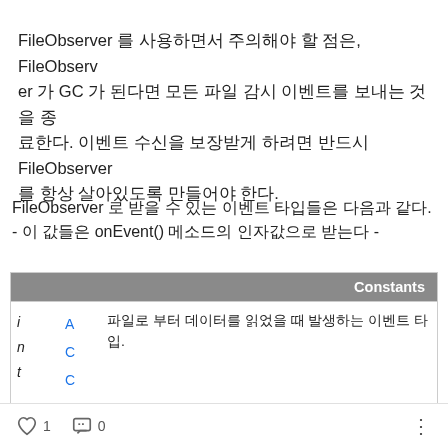FileObserver 를 사용하면서 주의해야 할 점은, FileObserver 가 GC 가 된다면 모든 파일 감시 이벤트를 보내는 것을 종료한다. 이벤트 수신을 보장받게 하려면 반드시 FileObserver 를 항상 살아있도록 만들어야 한다.
FileObserver 로 받을 수 있는 이벤트 타입들은 다음과 같다. - 이 값들은 onEvent() 메소드의 인자값으로 받는다 -
|  |  | Constants |
| --- | --- | --- |
| i
n
t | A
C
C
E | 파일로 부터 데이터를 읽었을 때 발생하는 이벤트 타입. |
♡ 1   💬 0   ⋮